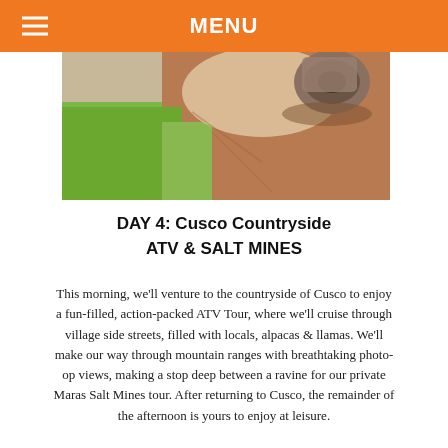MENU
[Figure (photo): ATV riding on dirt trail with green grass and red-brown soil, a rider visible in top right corner]
DAY 4: Cusco Countryside
ATV & SALT MINES
This morning, we'll venture to the countryside of Cusco to enjoy a fun-filled, action-packed ATV Tour, where we'll cruise through village side streets, filled with locals, alpacas & llamas. We'll make our way through mountain ranges with breathtaking photo-op views, making a stop deep between a ravine for our private Maras Salt Mines tour. After returning to Cusco, the remainder of the afternoon is yours to enjoy at leisure.